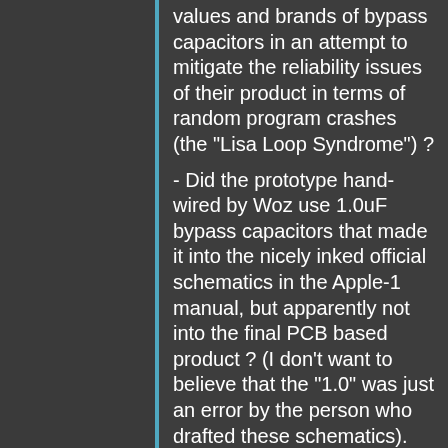values and brands of bypass capacitors in an attempt to mitigate the reliability issues of their product in terms of random program crashes (the "Lisa Loop Syndrome") ?
- Did the prototype hand-wired by Woz use 1.0uF bypass capacitors that made it into the nicely inked official schematics in the Apple-1 manual, but apparently not into the final PCB based product ? (I don't want to believe that the "1.0" was just an error by the person who drafted these schematics).
- Are the properties of the bypass capacitors really that critical ? (I do know of some perfectly good